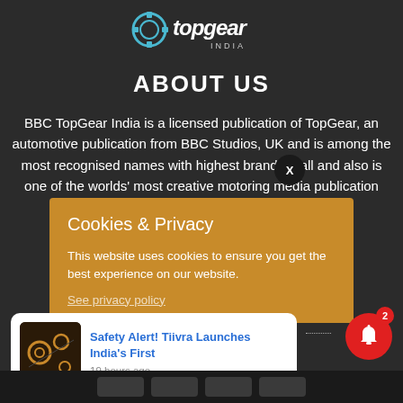[Figure (logo): TopGear India logo — stylized text 'topgear' with gear icon and 'INDIA' subtitle]
ABOUT US
BBC TopGear India is a licensed publication of TopGear, an automotive publication from BBC Studios, UK and is among the most recognised names with highest brand recall and also is one of the worlds' most creative motoring media publication
Cookies & Privacy
This website uses cookies to ensure you get the best experience on our website.
See privacy policy
[Figure (screenshot): Push notification banner: Safety Alert! Tiivra Launches India's First — 19 hours ago, with thumbnail image]
[Figure (infographic): Red notification bell icon with badge showing count 2]